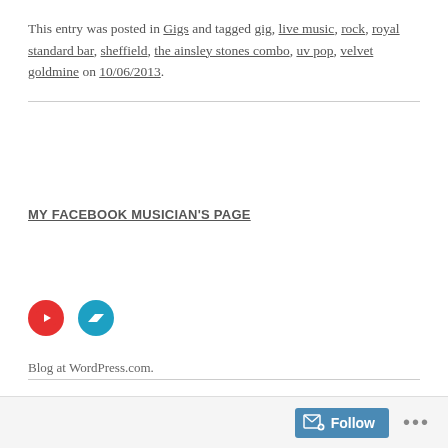This entry was posted in Gigs and tagged gig, live music, rock, royal standard bar, sheffield, the ainsley stones combo, uv pop, velvet goldmine on 10/06/2013.
MY FACEBOOK MUSICIAN'S PAGE
[Figure (other): Two circular social media icons: red YouTube icon and teal/blue Bandcamp icon]
Blog at WordPress.com.
Follow